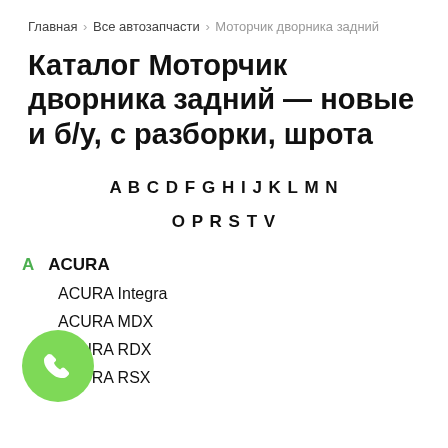Главная > Все автозапчасти > Моторчик дворника задний
Каталог Моторчик дворника задний — новые и б/у, с разборки, шрота
A B C D F G H I J K L M N O P R S T V
A  ACURA
ACURA Integra
ACURA MDX
ACURA RDX
ACURA RSX
ACURA TL...